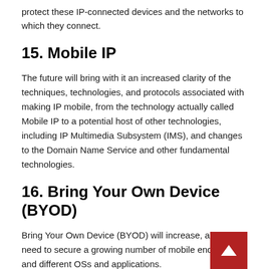protect these IP-connected devices and the networks to which they connect.
15. Mobile IP
The future will bring with it an increased clarity of the techniques, technologies, and protocols associated with making IP mobile, from the technology actually called Mobile IP to a potential host of other technologies, including IP Multimedia Subsystem (IMS), and changes to the Domain Name Service and other fundamental technologies.
16. Bring Your Own Device (BYOD)
Bring Your Own Device (BYOD) will increase, as will the need to secure a growing number of mobile endpoints and different OSs and applications.
The BYOD mobility aspect becomes even more impo… when it is considered in light of the discussion of mobility